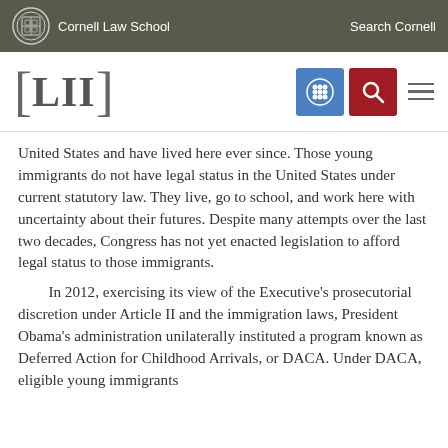Cornell Law School | Search Cornell
[Figure (logo): LII Legal Information Institute logo with navigation icons (grid icon in blue, search icon in red, hamburger menu)]
United States and have lived here ever since. Those young immigrants do not have legal status in the United States under current statutory law. They live, go to school, and work here with uncertainty about their futures. Despite many attempts over the last two decades, Congress has not yet enacted legislation to afford legal status to those immigrants.
In 2012, exercising its view of the Executive's prosecutorial discretion under Article II and the immigration laws, President Obama's administration unilaterally instituted a program known as Deferred Action for Childhood Arrivals, or DACA. Under DACA, eligible young immigrants